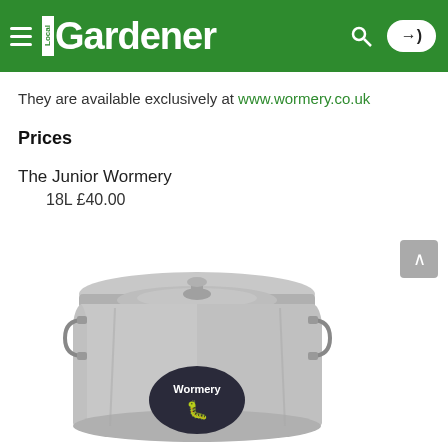Local Gardener
They are available exclusively at www.wormery.co.uk
Prices
The Junior Wormery
    18L £40.00
[Figure (photo): A silver/grey cylindrical wormery bin with a lid, handle clasps on the sides, and a Wormery label on the front with worm illustration.]